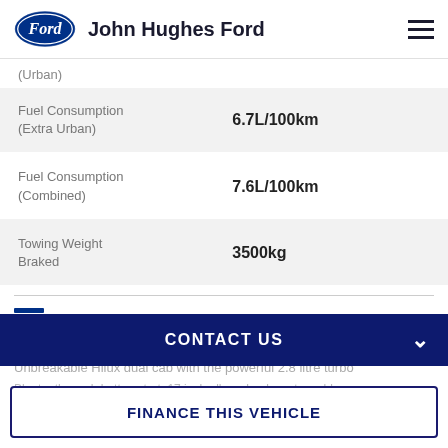John Hughes Ford
(Urban)
| Spec | Value |
| --- | --- |
| Fuel Consumption (Extra Urban) | 6.7L/100km |
| Fuel Consumption (Combined) | 7.6L/100km |
| Towing Weight Braked | 3500kg |
DEALER SUMMARY
Comments from the Dealer
Unbreakable Hilux dual cab with the powerful 2.8 litre turbo
Bluetooth, push button start, 17 inch alloy wheels, sat nav bl...